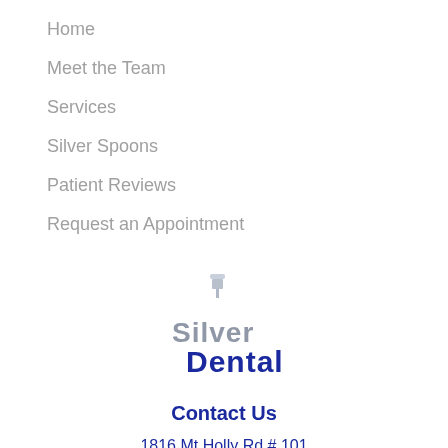Home
Meet the Team
Services
Silver Spoons
Patient Reviews
Request an Appointment
[Figure (logo): Silver Dental logo with a stylized tooth and text 'Silver Dental']
Contact Us
1816 Mt Holly Rd # 101
Burlington, NJ 08016